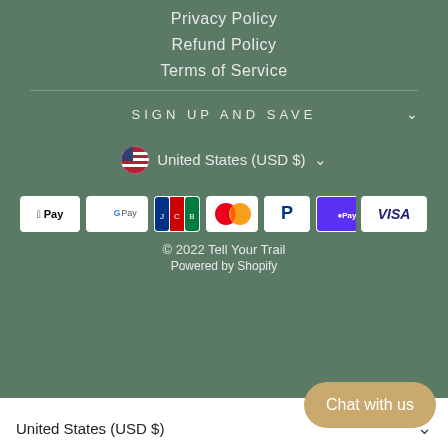Privacy Policy
Refund Policy
Terms of Service
SIGN UP AND SAVE
United States (USD $)
[Figure (other): Row of payment method icons: Apple Pay, Google Pay, JCB, Mastercard, PayPal, Shop Pay, Visa]
© 2022 Tell Your Trail
Powered by Shopify
United States (USD $)
Chat with us